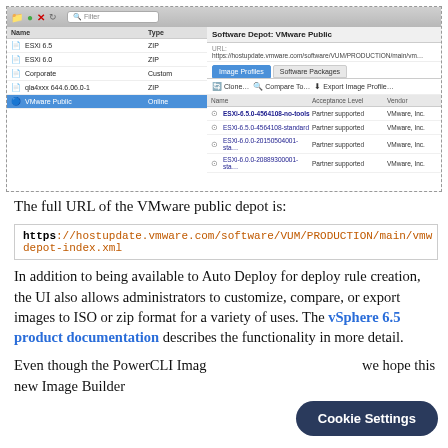[Figure (screenshot): VMware vSphere Image Builder UI screenshot showing software depots panel on left with ESXi 6.5, ESXi 6.0, Corporate, qla4xxx, and VMware Public entries, and right panel showing Software Depot: VMware Public with Image Profiles tab selected listing ESXi-6.5.0-4564108-no-tools, ESXi-6.5.0-4564108-standard, ESXi-6.0.0-20150504001-sta profiles with Partner supported acceptance level and VMware Inc vendor.]
The full URL of the VMware public depot is:
https://hostupdate.vmware.com/software/VUM/PRODUCTION/main/vmw-depot-index.xml
In addition to being available to Auto Deploy for deploy rule creation, the UI also allows administrators to customize, compare, or export images to ISO or zip format for a variety of uses. The vSphere 6.5 product documentation describes the functionality in more detail.
Even though the PowerCLI Image Builder is still available, we hope this new Image Builder